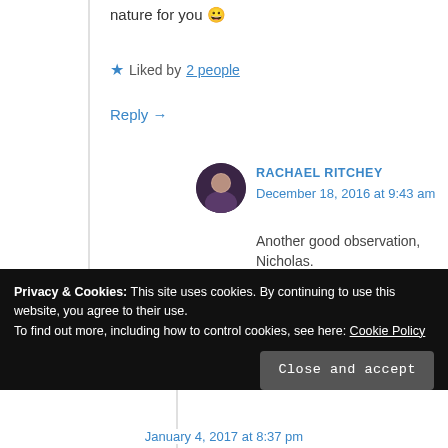nature for you 😀
★ Liked by 2 people
Reply →
RACHAEL RITCHEY
December 18, 2016 at 9:43 am
Another good observation, Nicholas.
★ Liked by 1 person
Privacy & Cookies: This site uses cookies. By continuing to use this website, you agree to their use. To find out more, including how to control cookies, see here: Cookie Policy
Close and accept
January 4, 2017 at 8:37 pm